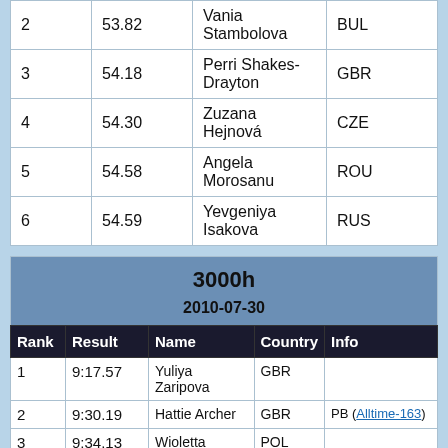| Rank | Result | Name | Country |
| --- | --- | --- | --- |
| 2 | 53.82 | Vania Stambolova | BUL |
| 3 | 54.18 | Perri Shakes-Drayton | GBR |
| 4 | 54.30 | Zuzana Hejnová | CZE |
| 5 | 54.58 | Angela Morosanu | ROU |
| 6 | 54.59 | Yevgeniya Isakova | RUS |
| Rank | Result | Name | Country | Info |
| --- | --- | --- | --- | --- |
| 1 | 9:17.57 | Yuliya Zaripova | RUS |  |
| 2 | 9:30.19 | Hattie Archer | GBR | PB (Alltime-163) |
| 3 | 9:34.13 | Wioletta Frankiewicz | POL |  |
| 4 | 9:34.75 | Layes Abdullayeva | AZE | PB (Alltime-213), NR |
| 5 | 9:35.52 | Sophia Duarte | FRA |  |
| 6 | 9:35.71 | Zulema Fuentes-Pila | ESP |  |
| 7 | 9:41.39 | Ancuta Bobocel | ROU |  |